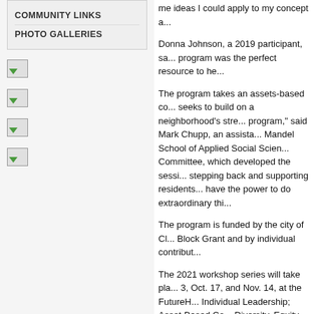COMMUNITY LINKS
PHOTO GALLERIES
[Figure (other): Four small thumbnail image icons in the left sidebar]
me ideas I could apply to my concept a...
Donna Johnson, a 2019 participant, sa... program was the perfect resource to he...
The program takes an assets-based co... seeks to build on a neighborhood's stre... program," said Mark Chupp, an assista... Mandel School of Applied Social Scien... Committee, which developed the sessi... stepping back and supporting residents... have the power to do extraordinary thi...
The program is funded by the city of Cl... Block Grant and by individual contribut...
The 2021 workshop series will take pla... 3, Oct. 17, and Nov. 14, at the FutureH... Individual Leadership; Asset-Based Co... Diversity, Equity and Inclusion; Policy &... Heights and Your Neighborhood; Lever... Community. All Cleveland Heights resid... provided during sessions.
Applications are due by Aug. 31, at 5 p...
www.futureheights.org/programs/comm...